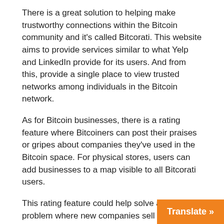There is a great solution to helping make trustworthy connections within the Bitcoin community and it's called Bitcorati. This website aims to provide services similar to what Yelp and LinkedIn provide for its users. And from this, provide a single place to view trusted networks among individuals in the Bitcoin network.
As for Bitcoin businesses, there is a rating feature where Bitcoiners can post their praises or gripes about companies they've used in the Bitcoin space. For physical stores, users can add businesses to a map visible to all Bitcorati users.
This rating feature could help solve a long time problem where new companies sell products they don't have or claim to have a physical address that is proven to be false. The bitcointalk forums contain information to help reduce the amount of scam companies, but Bitcorati streamlines the process of gathering trusted Bitcoin businesses which will be valuable as new Bitcoin users start spending their coins.
Back in the summer of 2013, I met Ryan Charleston, CEO and founder of Bitcorati, at the Inside Bitcoins co...
[Figure (other): Orange 'Translate »' button overlay in bottom-right corner]